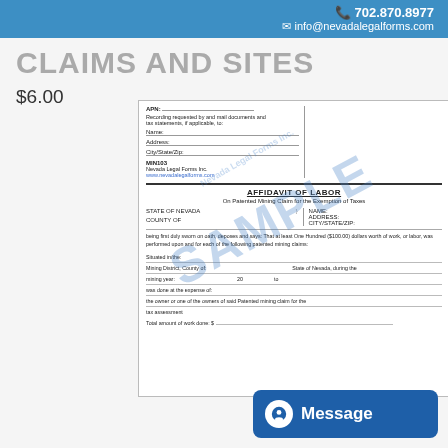702.870.8977  info@nevadalegalforms.com
CLAIMS AND SITES
$6.00
[Figure (other): Sample document preview of Affidavit of Labor on Patented Mining Claim for the Exemption of Taxes, Nevada Legal Forms Inc. form MIN103, with SAMPLE watermark overlay, showing form fields for APN, Name, Address, City/State/Zip, State of Nevada, County, and body text about work performed on patented mining claims.]
Message